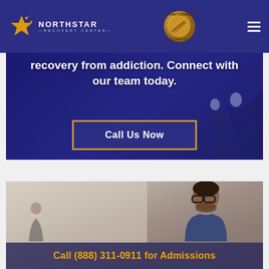[Figure (logo): NorthStar Recovery Center logo with gold star and text on dark blue header background]
[Figure (logo): The Joint Commission National Quality Approval gold seal badge]
recovery from addiction. Connect with our team today.
Call Us Now
[Figure (photo): Man with glasses in business setting, office environment in background]
Call (888) 311-0911 for Admissions